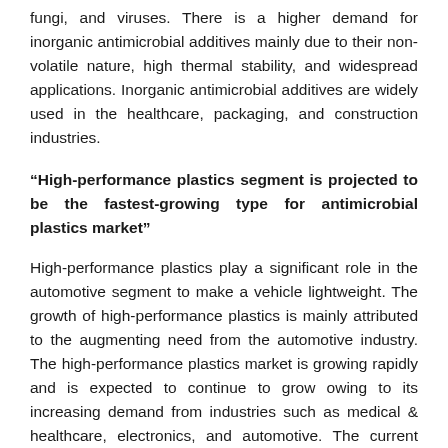fungi, and viruses. There is a higher demand for inorganic antimicrobial additives mainly due to their non-volatile nature, high thermal stability, and widespread applications. Inorganic antimicrobial additives are widely used in the healthcare, packaging, and construction industries.
“High-performance plastics segment is projected to be the fastest-growing type for antimicrobial plastics market”
High-performance plastics play a significant role in the automotive segment to make a vehicle lightweight. The growth of high-performance plastics is mainly attributed to the augmenting need from the automotive industry. The high-performance plastics market is growing rapidly and is expected to continue to grow owing to its increasing demand from industries such as medical & healthcare, electronics, and automotive. The current market is driven by the high demand from Asia Pacific and improved regulations by regional environment associations, and